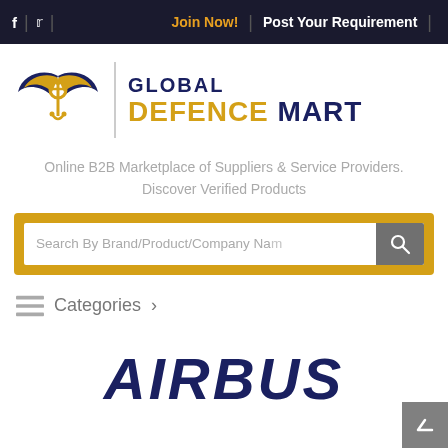f | • | Join Now! | Post Your Requirement |
[Figure (logo): Global Defence Mart logo with navy and gold winged anchor emblem and text GLOBAL DEFENCE MART]
Online B2B Marketplace of Suppliers & Service Providers. Discover Verified Products
[Figure (other): Search bar with placeholder text 'Search By Brand/Product/Company Name' and a search button with magnifier icon, wrapped in gold border]
Categories ›
[Figure (logo): AIRBUS logo in dark navy blue bold italic text]